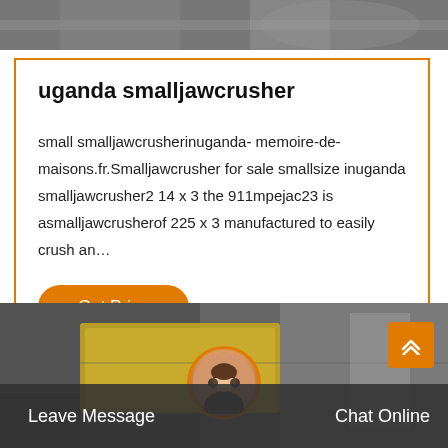[Figure (photo): Top strip showing industrial machinery background image]
uganda smalljawcrusher
small smalljawcrusherinuganda- memoire-de-maisons.fr.Smalljawcrusher for sale smallsize inuganda smalljawcrusher2 14 x 3 the 911mpejac23 is asmalljawcrusherof 225 x 3 manufactured to easily crush an…
Get Price
[Figure (photo): Bottom section showing industrial crushing machinery with a customer service chat bar at the bottom containing Leave Message and Chat Online options with a headset avatar]